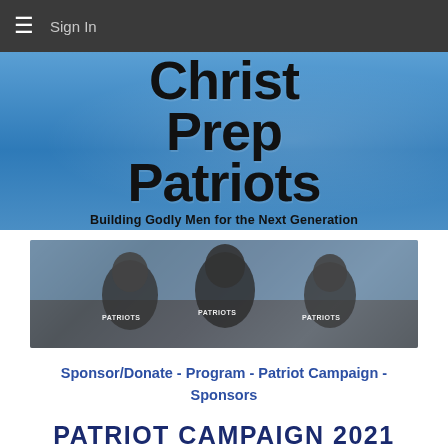≡  Sign In
[Figure (illustration): Christ Prep Patriots banner with blue sky background and football player. Text reads: Christ Prep Patriots - Building Godly Men for the Next Generation]
[Figure (photo): Football players in Patriots uniforms with red face masks running on the field]
Sponsor/Donate  -  Program  -  Patriot Campaign  -  Sponsors
PATRIOT CAMPAIGN 2021